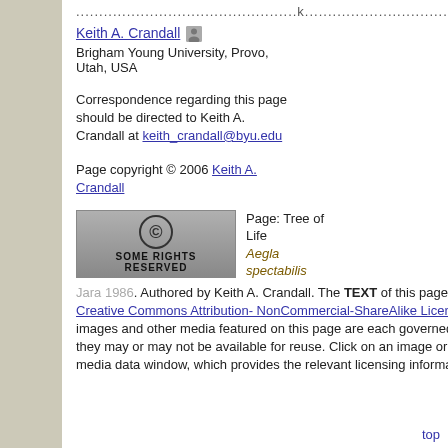................................................k...................................
Keith A. Crandall
Brigham Young University, Provo, Utah, USA
Correspondence regarding this page should be directed to Keith A. Crandall at keith_crandall@byu.edu
Page copyright © 2006 Keith A. Crandall
[Figure (logo): Creative Commons 'Some Rights Reserved' badge with CC circle logo]
Page: Tree of Life Aegla spectabilis Jara 1986. Authored by Keith A. Crandall. The TEXT of this page is licensed under the Creative Commons Attribution-NonCommercial-ShareAlike License - Version 3.0. Note that images and other media featured on this page are each governed by their own license, and they may or may not be available for reuse. Click on an image or a media link to access the media data window, which provides the relevant licensing information.